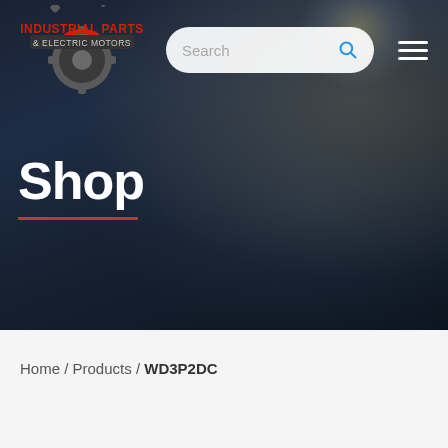[Figure (logo): Industrial Parts & Electric Motors logo with gear icon in red and gray]
Shop
Home / Products / WD3P2DC